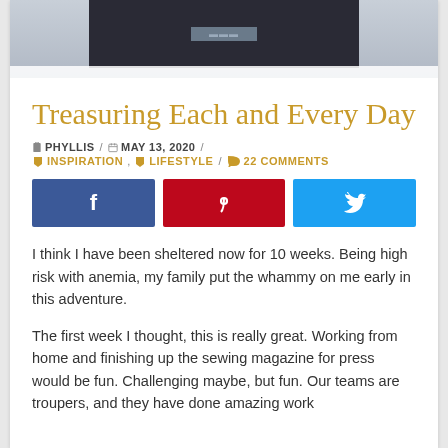[Figure (photo): Top photo strip showing a dark rectangular object on a white/grey surface]
Treasuring Each and Every Day
PHYLLIS / MAY 13, 2020 / INSPIRATION, LIFESTYLE / 22 COMMENTS
[Figure (infographic): Social share buttons: Facebook (blue), Pinterest (red), Twitter (light blue)]
I think I have been sheltered now for 10 weeks. Being high risk with anemia, my family put the whammy on me early in this adventure.
The first week I thought, this is really great. Working from home and finishing up the sewing magazine for press would be fun. Challenging maybe, but fun. Our teams are troupers, and they have done amazing work